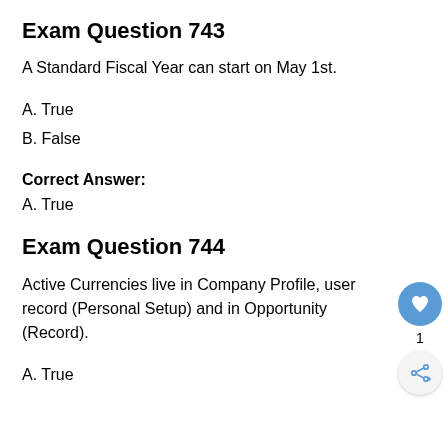Exam Question 743
A Standard Fiscal Year can start on May 1st.
A.  True
B.  False
Correct Answer:
A.  True
Exam Question 744
Active Currencies live in Company Profile, user record (Personal Setup) and in Opportunity (Record).
A.  True